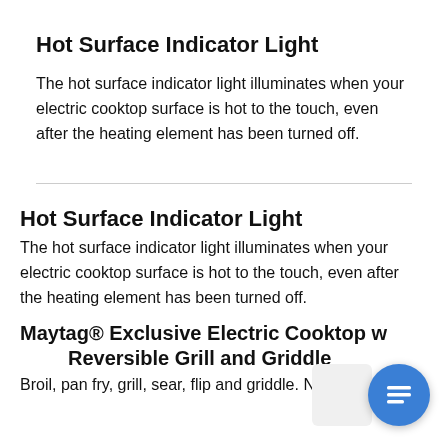Hot Surface Indicator Light
The hot surface indicator light illuminates when your electric cooktop surface is hot to the touch, even after the heating element has been turned off.
Hot Surface Indicator Light
The hot surface indicator light illuminates when your electric cooktop surface is hot to the touch, even after the heating element has been turned off.
Maytag® Exclusive Electric Cooktop with Reversible Grill and Griddle
Broil, pan fry, grill, sear, flip and griddle. No matter